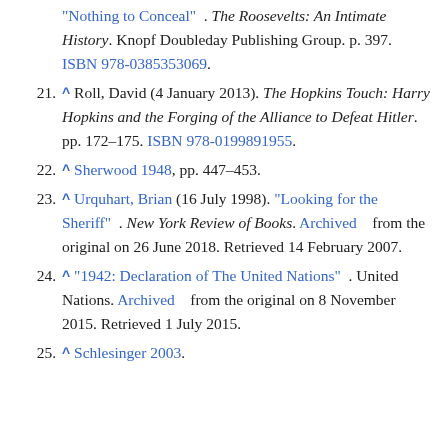"Nothing to Conceal". The Roosevelts: An Intimate History. Knopf Doubleday Publishing Group. p. 397. ISBN 978-0385353069.
21. ^ Roll, David (4 January 2013). The Hopkins Touch: Harry Hopkins and the Forging of the Alliance to Defeat Hitler. pp. 172–175. ISBN 978-0199891955.
22. ^ Sherwood 1948, pp. 447–453.
23. ^ Urquhart, Brian (16 July 1998). "Looking for the Sheriff". New York Review of Books. Archived from the original on 26 June 2018. Retrieved 14 February 2007.
24. ^ "1942: Declaration of The United Nations". United Nations. Archived from the original on 8 November 2015. Retrieved 1 July 2015.
25. ^ Schlesinger 2003.